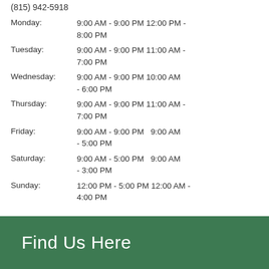(815) 942-5918
Monday: 9:00 AM - 9:00 PM 12:00 PM - 8:00 PM
Tuesday: 9:00 AM - 9:00 PM 11:00 AM - 7:00 PM
Wednesday: 9:00 AM - 9:00 PM 10:00 AM - 6:00 PM
Thursday: 9:00 AM - 9:00 PM 11:00 AM - 7:00 PM
Friday: 9:00 AM - 9:00 PM  9:00 AM - 5:00 PM
Saturday: 9:00 AM - 5:00 PM  9:00 AM - 3:00 PM
Sunday: 12:00 PM - 5:00 PM 12:00 AM - 4:00 PM
Find Us Here